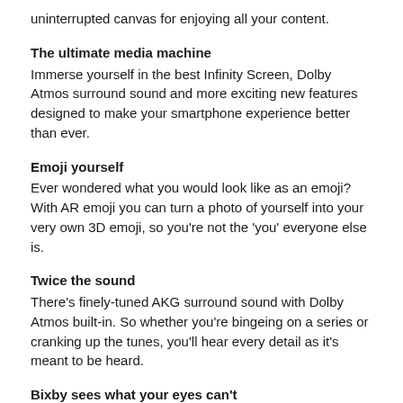uninterrupted canvas for enjoying all your content.
The ultimate media machine
Immerse yourself in the best Infinity Screen, Dolby Atmos surround sound and more exciting new features designed to make your smartphone experience better than ever.
Emoji yourself
Ever wondered what you would look like as an emoji? With AR emoji you can turn a photo of yourself into your very own 3D emoji, so you're not the 'you' everyone else is.
Twice the sound
There's finely-tuned AKG surround sound with Dolby Atmos built-in. So whether you're bingeing on a series or cranking up the tunes, you'll hear every detail as it's meant to be heard.
Bixby sees what your eyes can't
Bixby is way more than a PA in your pocket. And now with Bixby Voice and Bixby Vision at the heart, you can interact with your Galaxy S9 or S9+ in even more clever ways.